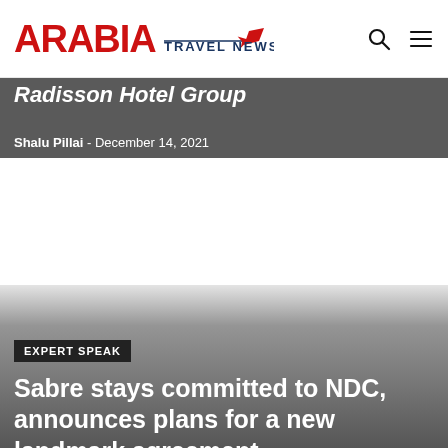ARABIA TRAVEL NEWS
Radisson Hotel Group
Shalu Pillai - December 14, 2021
EXPERT SPEAK
Sabre stays committed to NDC, announces plans for a new landmark agreement
Shalu Pillai - August 31, 2021